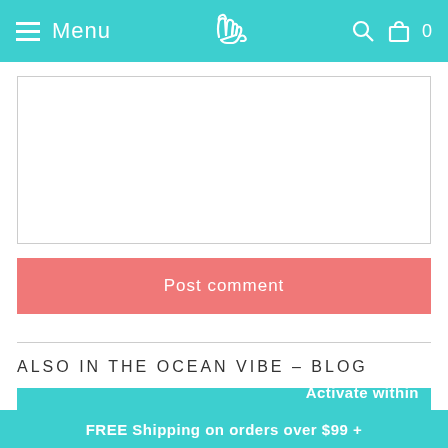Menu | [logo] | [search] [cart] 0
[comment textarea]
Post comment
ALSO IN THE OCEAN VIBE – BLOG
[Figure (photo): Jellyfish swimming in blue water with special offer badge overlay and activate within bar]
FREE Shipping on orders over $99 +